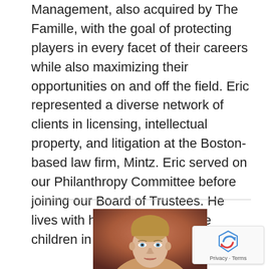Management, also acquired by The Famille, with the goal of protecting players in every facet of their careers while also maximizing their opportunities on and off the field. Eric represented a diverse network of clients in licensing, intellectual property, and litigation at the Boston-based law firm, Mintz. Eric served on our Philanthropy Committee before joining our Board of Trustees. He lives with his spouse and three children in North San Diego County.
[Figure (photo): Headshot of a woman with blonde hair pulled back, looking forward, against a reddish-brown blurred background]